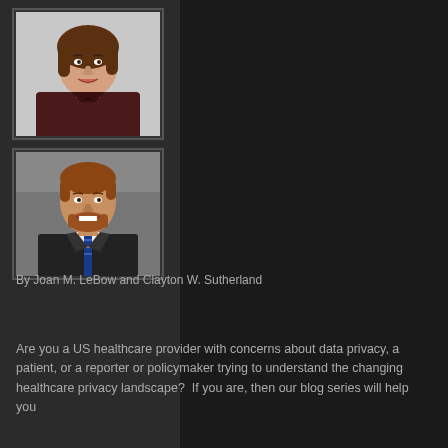[Figure (photo): Professional headshot of a woman with brown hair wearing a dark maroon/burgundy blazer, smiling, against a light background]
[Figure (photo): Professional headshot of a young man with reddish-brown hair and beard, wearing a dark suit with a blue striped tie, smiling, against a gray background]
By Joan M. LeBow and Clayton W. Sutherland
Are you a US healthcare provider with concerns about data privacy, a patient, or a reporter or policymaker trying to understand the changing healthcare privacy landscape?  If you are, then our blog series will help you